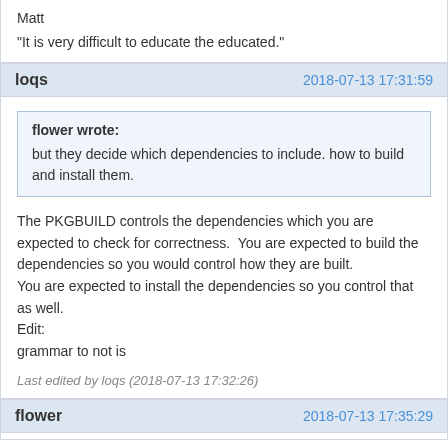Matt
"It is very difficult to educate the educated."
loqs  2018-07-13 17:31:59
flower wrote:
but they decide which dependencies to include. how to build and install them.
The PKGBUILD controls the dependencies which you are expected to check for correctness.  You are expected to build the dependencies so you would control how they are built.
You are expected to install the dependencies so you control that as well.
Edit:
grammar to not is
Last edited by loqs (2018-07-13 17:32:26)
flower  2018-07-13 17:35:29